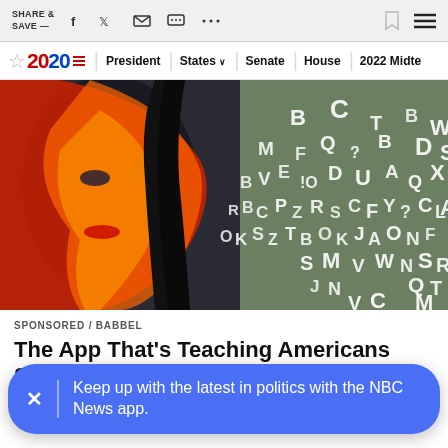SHARE & SAVE —
★ 2020 | President | States ∨ | Senate | House | 2022 Midte
[Figure (photo): Woman with half her face painted in red/orange/yellow colors, surrounded by floating alphabet letters on a green background]
SPONSORED / BABBEL
The App That's Teaching Americans Spanish In 15 Minutes A Day
Get 50% OFF + Lifetime Access | This Week Only!
Keep up with the latest in politics with the NBC News app.